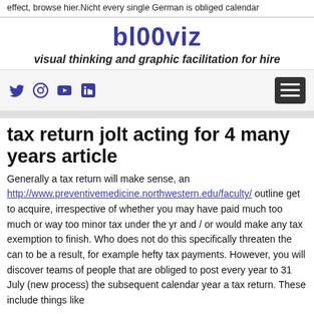effect, browse hier.Nicht every single German is obliged calendar
bl00viz
visual thinking and graphic facilitation for hire
[Figure (other): Navigation bar with social media icons (Twitter, Instagram, YouTube, LinkedIn) and a hamburger menu button]
tax return jolt acting for 4 many years article
Generally a tax return will make sense, an http://www.preventivemedicine.northwestern.edu/faculty/ outline get to acquire, irrespective of whether you may have paid much too much or way too minor tax under the yr and / or would make any tax exemption to finish. Who does not do this specifically threaten the can to be a result, for example hefty tax payments. However, you will discover teams of people that are obliged to post every year to 31 July (new process) the subsequent calendar year a tax return. These include things like